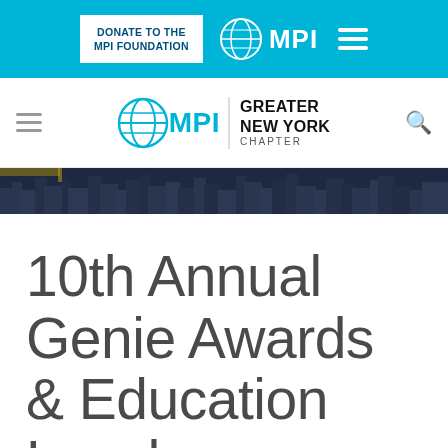DONATE TO THE MPI FOUNDATION | MPI
[Figure (logo): MPI Greater New York Chapter logo with globe icon, navigation hamburger icon, and search icon]
[Figure (photo): City skyline hero image strip]
10th Annual Genie Awards & Education Luncheon